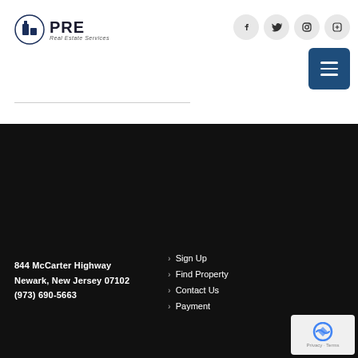[Figure (logo): PRE Real Estate Services logo with stylized building icon]
844 McCarter Highway
Newark, New Jersey 07102
(973) 690-5663
Sign Up
Find Property
Contact Us
Payment
About Us
Our Team
Properties
Privacy Policy
Property Valuation
Tenant / Buyer
Owner / Landlord